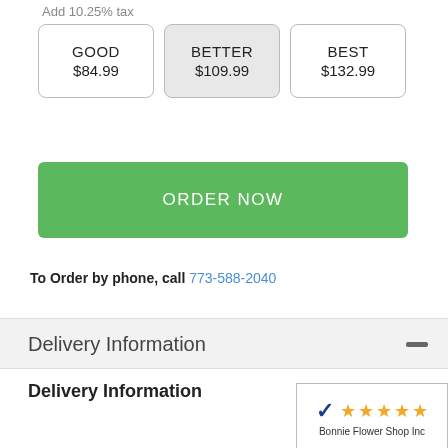Add 10.25% tax
GOOD
$84.99
BETTER
$109.99
BEST
$132.99
ORDER NOW
To Order by phone, call 773-588-2040
Delivery Information
Delivery Information
[Figure (logo): Bonnie Flower Shop Inc rating badge with Y! checkmark and 5 orange stars]